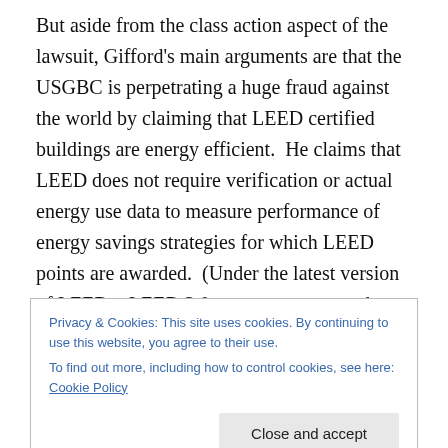But aside from the class action aspect of the lawsuit, Gifford's main arguments are that the USGBC is perpetrating a huge fraud against the world by claiming that LEED certified buildings are energy efficient.  He claims that LEED does not require verification or actual energy use data to measure performance of energy savings strategies for which LEED points are awarded.  (Under the latest version of LEED—LEED 3.0—measurement and verification of energy performance is required following construction)   He also claims that the USGBC has manipulated data from a study performed by
Privacy & Cookies: This site uses cookies. By continuing to use this website, you agree to their use.
To find out more, including how to control cookies, see here: Cookie Policy
Close and accept
make a judgment as to whether they are true.  But, I also